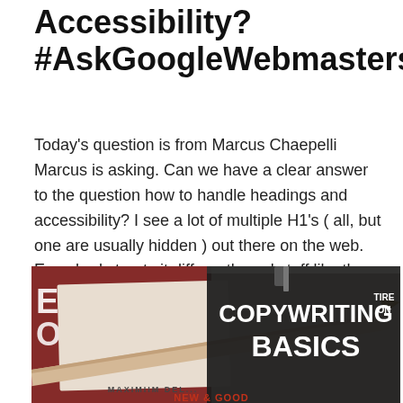Accessibility? #AskGoogleWebmasters
Today's question is from Marcus Chaepelli Marcus is asking. Can we have a clear answer to the question how to handle headings and accessibility? I see a lot of multiple H1's ( all, but one are usually hidden ) out there on the web. Everybody treats it differently and stuff like the tag. So this is a pretty common question and it's pretty straightforward.
[Figure (photo): A photo showing a pencil lying diagonally across paper, with a dark notebook and clipboard on the right side. White bold text overlaid reads 'COPYWRITING BASICS'. Background has vintage stamp-style imagery with 'ENJOY' on the left side and 'MAXIMUM DEL... NEW & GOOD' text at the bottom.]